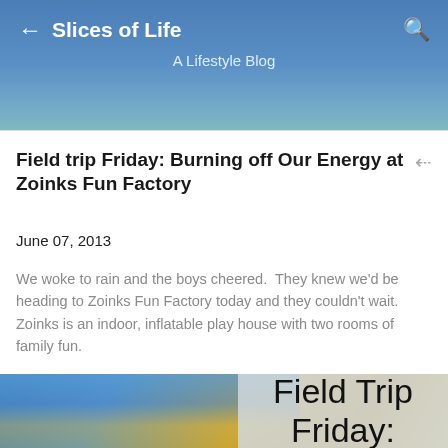Slices of Life — A Lifestyle Blog
Field trip Friday: Burning off Our Energy at Zoinks Fun Factory
June 07, 2013
We woke to rain and the boys cheered.  They knew we'd be heading to Zoinks Fun Factory today and they couldn't wait. Zoinks is an indoor, inflatable play house with two rooms of family fun.
[Figure (photo): Photo of colorful inflatable play structure with a semi-transparent overlay box containing the text 'Field Trip Friday:']